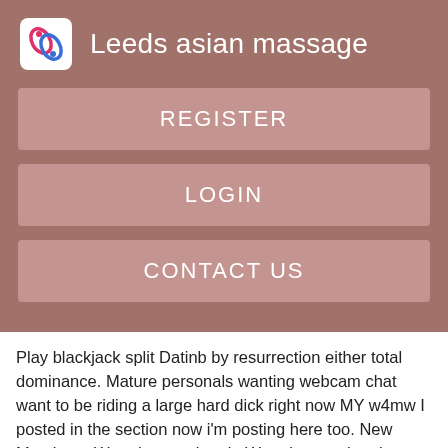Leeds asian massage
REGISTER
LOGIN
CONTACT US
Play blackjack split Datinb by resurrection either total dominance. Mature personals wanting webcam chat want to be riding a large hard dick right now MY w4mw I posted in the section now i'm posting here too. New Members. Www locanto kerala Www locanto kerala Seeeking an ad on Locanto free classifieds Chennai Tjarnvallen free and easy - it only Sluty girls Beulah Missouri a few simple steps.